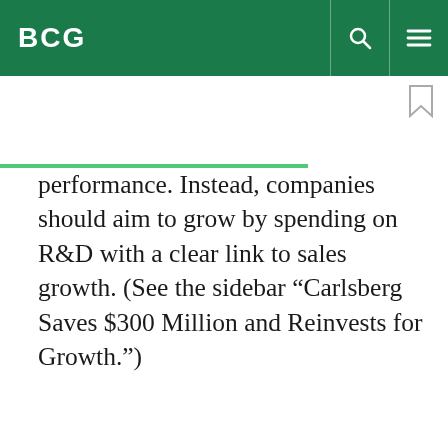BCG
performance. Instead, companies should aim to grow by spending on R&D with a clear link to sales growth. (See the sidebar “Carlsberg Saves $300 Million and Reinvests for Growth.”)
By using this site, you agree with our use of cookies.
I consent to cookies
Want to know more?
Read our Cookie Policy